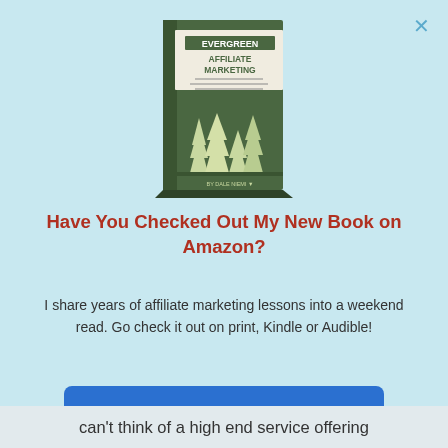[Figure (illustration): Book cover of 'Evergreen Affiliate Marketing' with green cover showing pine trees, displayed at a slight angle]
Have You Checked Out My New Book on Amazon?
I share years of affiliate marketing lessons into a weekend read. Go check it out on print, Kindle or Audible!
ā  Grab Your Copy
can't think of a high end service offering